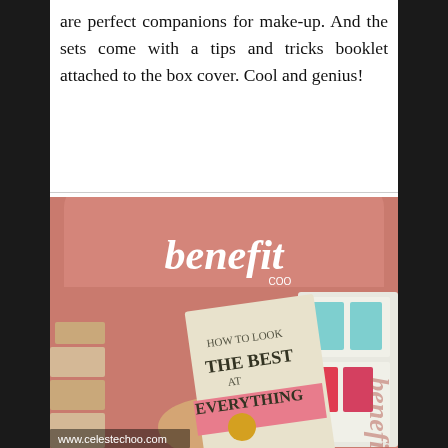are perfect companions for make-up. And the sets come with a tips and tricks booklet attached to the box cover. Cool and genius!
[Figure (photo): Photo of a Benefit cosmetics display stand showing a book titled 'How to Look the Best at Everything' held up in front of a pink Benefit branded backdrop with cosmetic products on shelves. Watermark reads www.celestechoo.com]